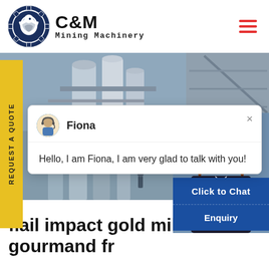[Figure (logo): C&M Mining Machinery logo with eagle gear icon in navy blue circle, bold C&M text and 'Mining Machinery' subtitle]
[Figure (photo): Industrial mining facility photos showing silos, conveyor structures, and processing equipment]
[Figure (screenshot): Live chat popup with avatar of Fiona saying 'Hello, I am Fiona, I am very glad to talk with you!']
[Figure (photo): Customer service representative wearing headset with teal badge showing '1' and Click to Chat / Enquiry buttons]
flail impact gold mill - h... gourmand fr